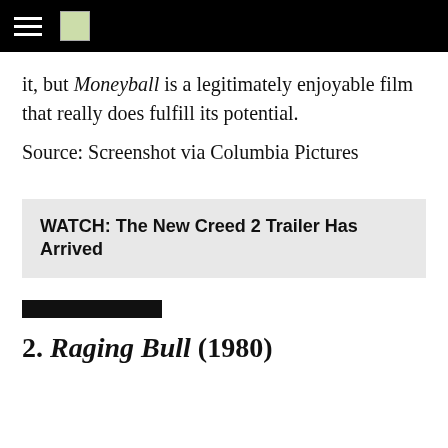it, but Moneyball is a legitimately enjoyable film that really does fulfill its potential.
Source: Screenshot via Columbia Pictures
WATCH: The New Creed 2 Trailer Has Arrived
2. Raging Bull (1980)